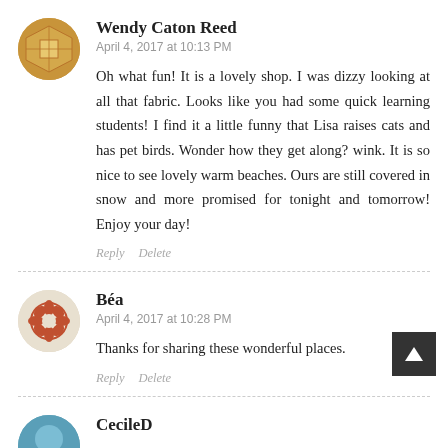Wendy Caton Reed
April 4, 2017 at 10:13 PM
Oh what fun! It is a lovely shop. I was dizzy looking at all that fabric. Looks like you had some quick learning students! I find it a little funny that Lisa raises cats and has pet birds. Wonder how they get along? wink. It is so nice to see lovely warm beaches. Ours are still covered in snow and more promised for tonight and tomorrow! Enjoy your day!
Béa
April 4, 2017 at 10:28 PM
Thanks for sharing these wonderful places.
CecileD